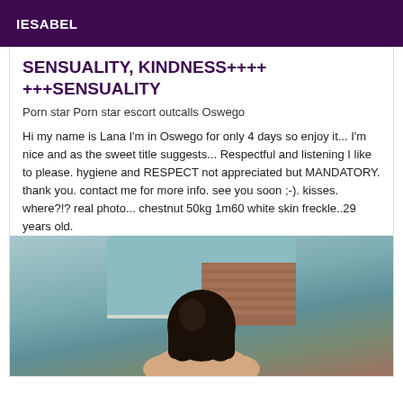IESABEL
SENSUALITY, KINDNESS++++
+++SENSUALITY
Porn star Porn star escort outcalls Oswego
Hi my name is Lana I'm in Oswego for only 4 days so enjoy it... I'm nice and as the sweet title suggests... Respectful and listening I like to please. hygiene and RESPECT not appreciated but MANDATORY. thank you. contact me for more info. see you soon ;-). kisses. where?!? real photo... chestnut 50kg 1m60 white skin freckle..29 years old.
[Figure (photo): Woman with dark hair seen from behind near a pool with wooden deck, outdoor setting]